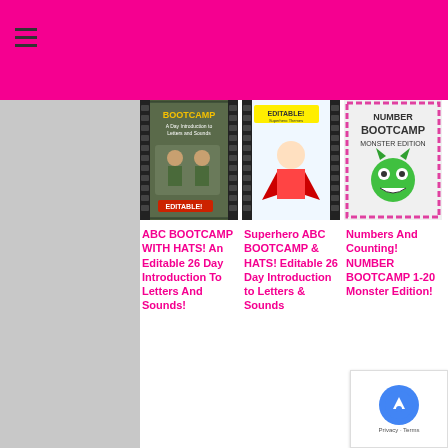Navigation header with hamburger menu
[Figure (illustration): ABC Bootcamp with Hats book cover - military themed with soldiers]
ABC BOOTCAMP WITH HATS! An Editable 26 Day Introduction To Letters And Sounds!
[Figure (illustration): Superhero ABC Bootcamp & Hats book cover - superhero themed]
Superhero ABC BOOTCAMP & HATS! Editable 26 Day Introduction to Letters & Sounds
[Figure (illustration): Number Bootcamp Monster Edition book cover - monster themed]
Numbers And Counting! NUMBER BOOTCAMP 1-20 Monster Edition!
[Figure (illustration): Dinocamp book cover - dinosaur themed]
[Figure (illustration): Back To school book cover]
[Figure (illustration): What Does The Fox Say book cover]